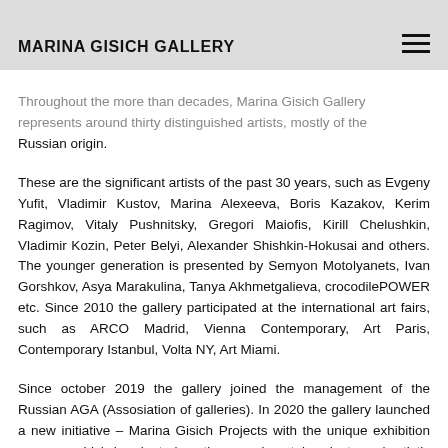MARINA GISICH GALLERY
Throughout the more than decades, Marina Gisich Gallery represents around thirty distinguished artists, mostly of the Russian origin.
These are the significant artists of the past 30 years, such as Evgeny Yufit, Vladimir Kustov, Marina Alexeeva, Boris Kazakov, Kerim Ragimov, Vitaly Pushnitsky, Gregori Maiofis, Kirill Chelushkin, Vladimir Kozin, Peter Belyi, Alexander Shishkin-Hokusai and others. The younger generation is presented by Semyon Motolyanets, Ivan Gorshkov, Asya Marakulina, Tanya Akhmetgalieva, crocodilePOWER etc. Since 2010 the gallery participated at the international art fairs, such as ARCO Madrid, Vienna Contemporary, Art Paris, Contemporary Istanbul, Volta NY, Art Miami.
Since october 2019 the gallery joined the management of the Russian AGA (Assosiation of galleries). In 2020 the gallery launched a new initiative – Marina Gisich Projects with the unique exhibition program which is oriented on the experimental projects and artistic practices. The idea of